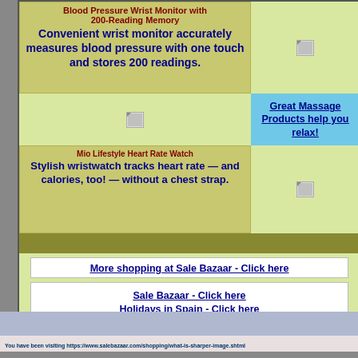Blood Pressure Wrist Monitor with 200-Reading Memory
Convenient wrist monitor accurately measures blood pressure with one touch and stores 200 readings.
[Figure (photo): Broken/placeholder image icon for blood pressure monitor product]
[Figure (photo): Broken/placeholder image icon in middle left area]
Great Massage Products help you relax!
Mio Lifestyle Heart Rate Watch
Stylish wristwatch tracks heart rate — and calories, too! — without a chest strap.
[Figure (photo): Broken/placeholder image icon for heart rate watch product]
More shopping at Sale Bazaar - Click here
Sale Bazaar - Click here
Holidays in Spain - Click here
You have been visiting https://www.salebazaar.com/shopping/what-is-sharper-image.shtml